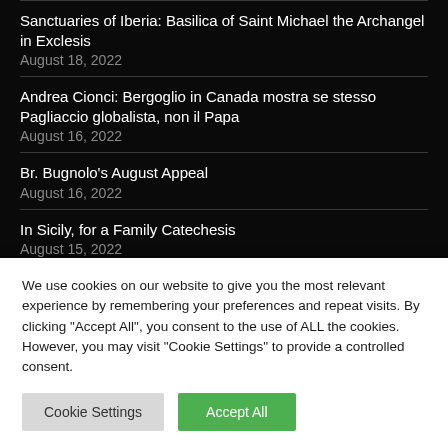Sanctuaries of Iberia: Basilica of Saint Michael the Archangel in Exclesis
August 18, 2022
Andrea Cionci: Bergoglio in Canada mostra se stesso Pagliaccio globalista, non il Papa
August 16, 2022
Br. Bugnolo's August Appeal
August 16, 2022
In Sicily, for a Family Catechesis
August 15, 2022
Christ's Second Coming: How it will go down….
We use cookies on our website to give you the most relevant experience by remembering your preferences and repeat visits. By clicking "Accept All", you consent to the use of ALL the cookies. However, you may visit "Cookie Settings" to provide a controlled consent.